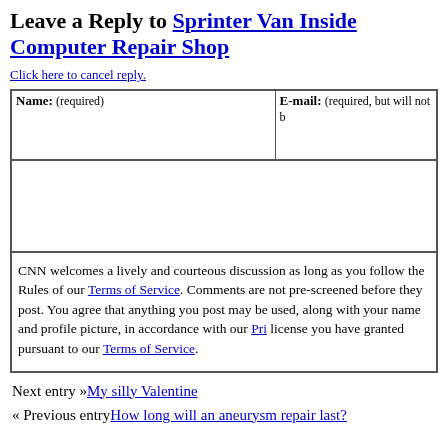Leave a Reply to Sprinter Van Inside Computer Repair Shop
Click here to cancel reply.
| Name: (required) | E-mail: (required, but will not be published) |
| --- | --- |
|  |  |
CNN welcomes a lively and courteous discussion as long as you follow the Rules of our Terms of Service. Comments are not pre-screened before they post. You agree that anything you post may be used, along with your name and profile picture, in accordance with our Privacy Policy and the license you have granted pursuant to our Terms of Service.
Next entry »My silly Valentine
« Previous entryHow long will an aneurysm repair last?